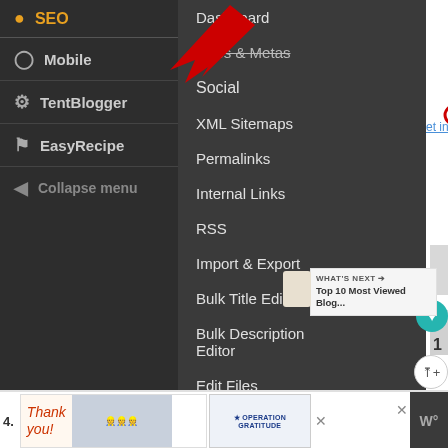[Figure (screenshot): WordPress admin sidebar showing SEO plugin menu with dropdown items: Dashboard, Titles & Metas, Social (circled), XML Sitemaps, Permalinks, Internal Links, RSS, Import & Export, Bulk Title Editor, Bulk Description Editor, Edit Files, Extensions. A red arrow annotation points to the SEO menu item. The sidebar also shows Mobile, TentBlogger, EasyRecipe, and Collapse menu items.]
[Figure (screenshot): Bottom advertisement bar showing a 'Thank you!' Operation Gratitude ad with firefighter image.]